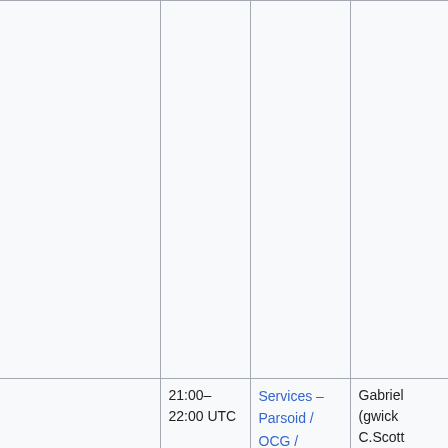|  |  |  |  |
| 21:00–22:00 UTC | Services – Parsoid / OCG / | Gabriel (gwick
C.Scott (cscot
Arlo (arlolra)
... |